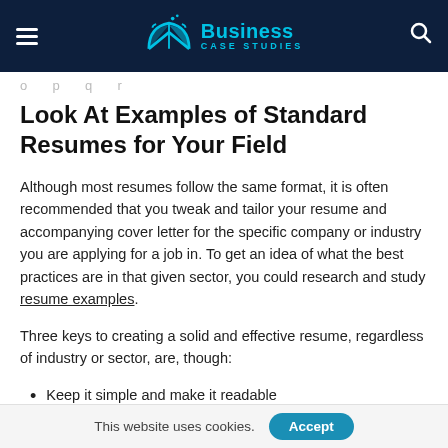Business Case Studies
Look At Examples of Standard Resumes for Your Field
Although most resumes follow the same format, it is often recommended that you tweak and tailor your resume and accompanying cover letter for the specific company or industry you are applying for a job in. To get an idea of what the best practices are in that given sector, you could research and study resume examples.
Three keys to creating a solid and effective resume, regardless of industry or sector, are, though:
Keep it simple and make it readable
This website uses cookies. Accept